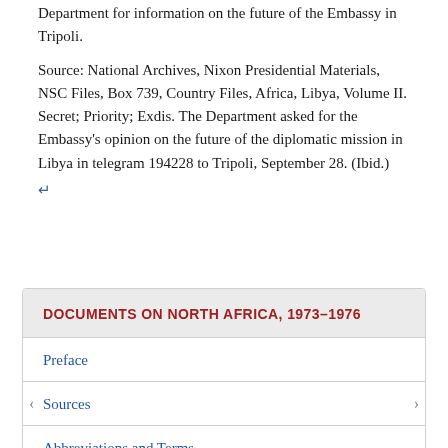Department for information on the future of the Embassy in Tripoli.
Source: National Archives, Nixon Presidential Materials, NSC Files, Box 739, Country Files, Africa, Libya, Volume II. Secret; Priority; Exdis. The Department asked for the Embassy's opinion on the future of the diplomatic mission in Libya in telegram 194228 to Tripoli, September 28. (Ibid.)
↵
DOCUMENTS ON NORTH AFRICA, 1973–1976
Preface
Sources
Abbreviations and Terms
Persons